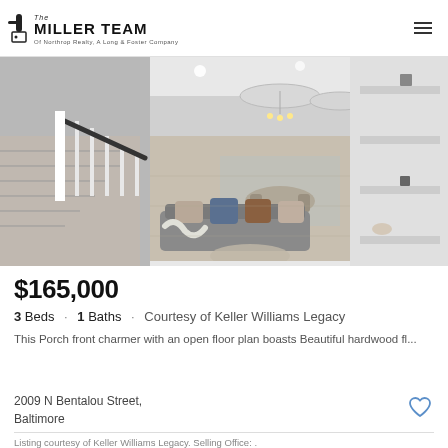Listing courtesy of Keller Williams Legacy. Selling Office: .
[Figure (logo): The Miller Team logo — door handle icon with text 'The MILLER TEAM Of Northrop Realty, A Long & Foster Company']
[Figure (photo): Interior photo of a home showing a modern open floor plan with a staircase on the left, hardwood floors, a sofa with decorative pillows, a dining area in the background, and built-in shelving on the right wall.]
$165,000
3 Beds · 1 Baths · Courtesy of Keller Williams Legacy
This Porch front charmer with an open floor plan boasts Beautiful hardwood fl...
2009 N Bentalou Street, Baltimore
Listing courtesy of Keller Williams Legacy. Selling Office: .